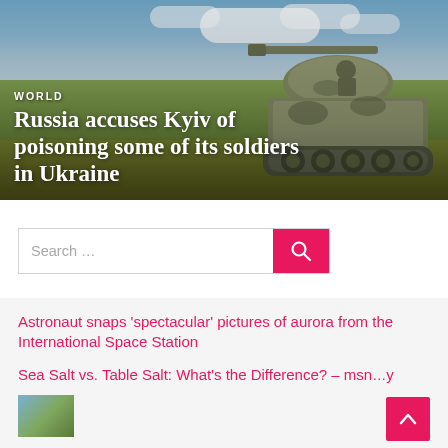[Figure (photo): Military tank in a field with cloudy sky background. Headline overlay reads WORLD and article title.]
Russia accuses Kyiv of poisoning some of its soldiers in Ukraine
[Figure (other): Search bar with pink search button]
Astronaut snaps ‘spectacular’ pictures of aurora from the International Space Station
Sea Salt vs. Table Salt: What’s the Difference? – msn...
[Figure (photo): Small thumbnail image at bottom left]